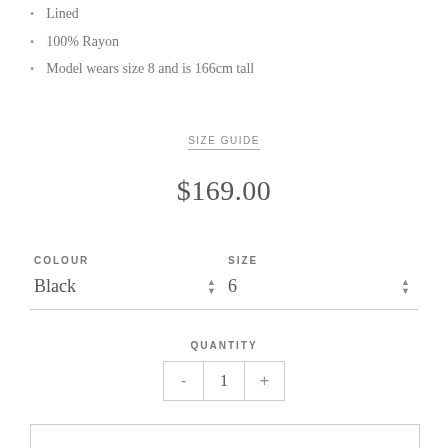Lined
100% Rayon
Model wears size 8 and is 166cm tall
SIZE GUIDE
$169.00
COLOUR: Black  SIZE: 6
QUANTITY
- 1 +